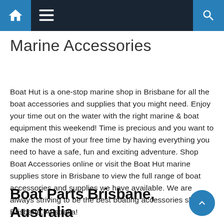Navigation bar with home, menu, and search icons
Marine Accessories
Boat Hut is a one-stop marine shop in Brisbane for all the boat accessories and supplies that you might need. Enjoy your time out on the water with the right marine & boat equipment this weekend! Time is precious and you want to make the most of your free time by having everything you need to have a safe, fun and exciting adventure. Shop Boat Accessories online or visit the Boat Hut marine supplies store in Brisbane to view the full range of boat accessories and supplies we have available. We are always striving to be the best boating accessories shop in Brisbane, Australia!
Boat Parts Brisbane, Australia